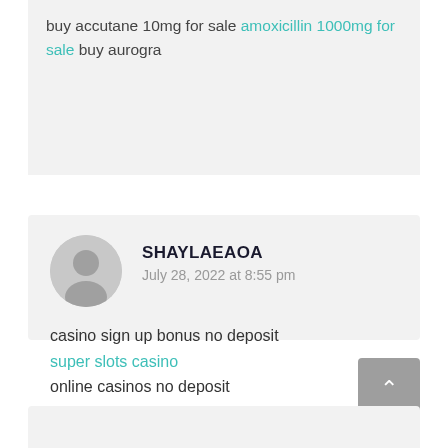buy accutane 10mg for sale amoxicillin 1000mg for sale buy aurogra
SHAYLAEAOA
July 28, 2022 at 8:55 pm
casino sign up bonus no deposit
super slots casino
online casinos no deposit